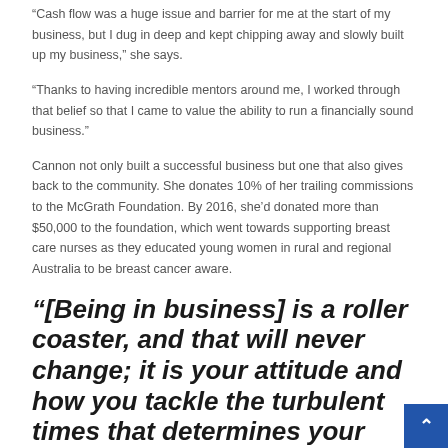“Cash flow was a huge issue and barrier for me at the start of my business, but I dug in deep and kept chipping away and slowly built up my business,” she says.
“Thanks to having incredible mentors around me, I worked through that belief so that I came to value the ability to run a financially sound business.”
Cannon not only built a successful business but one that also gives back to the community. She donates 10% of her trailing commissions to the McGrath Foundation. By 2016, she’d donated more than $50,000 to the foundation, which went towards supporting breast care nurses as they educated young women in rural and regional Australia to be breast cancer aware.
“[Being in business] is a roller coaster, and that will never change; it is your attitude and how you tackle the turbulent times that determines your long-term